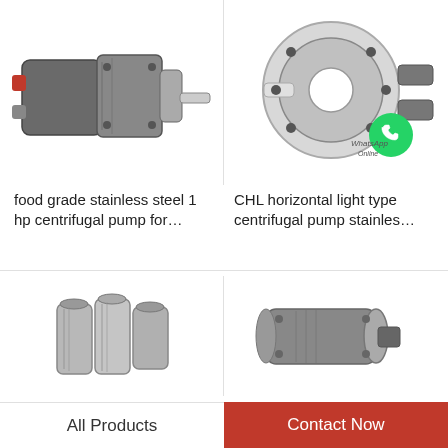[Figure (photo): Food grade stainless steel hydraulic gear pump with red port cap and protruding shaft, silver/dark metal body]
[Figure (photo): CHL horizontal light type centrifugal pump stainless steel, white/grey body with multiple ports, WhatsApp Online badge overlay]
food grade stainless steel 1 hp centrifugal pump for…
CHL horizontal light type centrifugal pump stainles…
[Figure (photo): Close-up of stainless steel manifold/valve block with threaded ports]
[Figure (photo): Grey electric motor or small pump unit with gear housing]
All Products
Contact Now